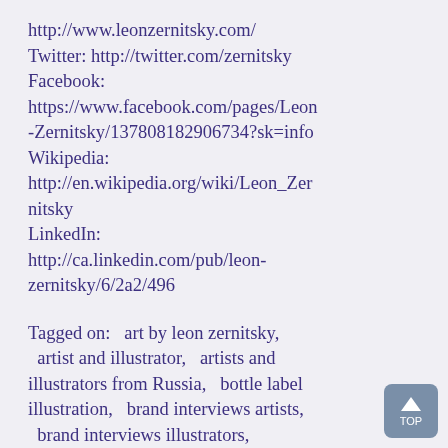http://www.leonzernitsky.com/ Twitter: http://twitter.com/zernitsky Facebook: https://www.facebook.com/pages/Leon-Zernitsky/137808182906734?sk=info Wikipedia: http://en.wikipedia.org/wiki/Leon_Zernitsky LinkedIn: http://ca.linkedin.com/pub/leon-zernitsky/6/2a2/496
Tagged on:   art by leon zernitsky,   artist and illustrator,   artists and illustrators from Russia,   bottle label illustration,   brand interviews artists,   brand interviews illustrators,